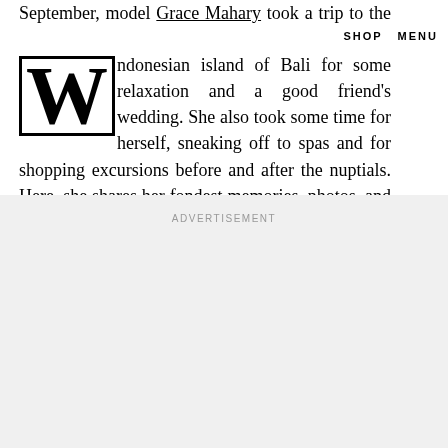September, model Grace Mahary took a trip to the Indonesian island of Bali for some relaxation and a good friend's wedding. She also took some time for herself, sneaking off to spas and for shopping excursions before and after the nuptials. Here, she shares her fondest memories, photos, and where to go that's off the beaten path.
ADVERTISEMENT